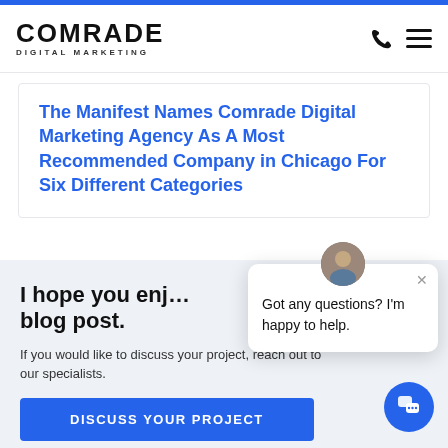COMRADE DIGITAL MARKETING
The Manifest Names Comrade Digital Marketing Agency As A Most Recommended Company in Chicago For Six Different Categories
I hope you enjoy this blog post.
If you would like to discuss your project, reach out to our specialists.
DISCUSS YOUR PROJECT
Got any questions? I'm happy to help.